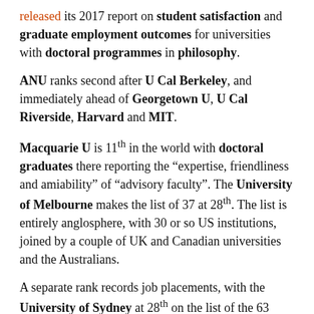released its 2017 report on student satisfaction and graduate employment outcomes for universities with doctoral programmes in philosophy.
ANU ranks second after U Cal Berkeley, and immediately ahead of Georgetown U, U Cal Riverside, Harvard and MIT.
Macquarie U is 11th in the world with doctoral graduates there reporting the "expertise, friendliness and amiability" of "advisory faculty". The University of Melbourne makes the list of 37 at 28th. The list is entirely anglosphere, with 30 or so US institutions, joined by a couple of UK and Canadian universities and the Australians.
A separate rank records job placements, with the University of Sydney at 28th on the list of the 63 institutions that are above the average for all 137 surveyed. Some 53 per cent of PhD completers were employed in a permanent academic position, 40 per cent of them in PhD granting institutions.